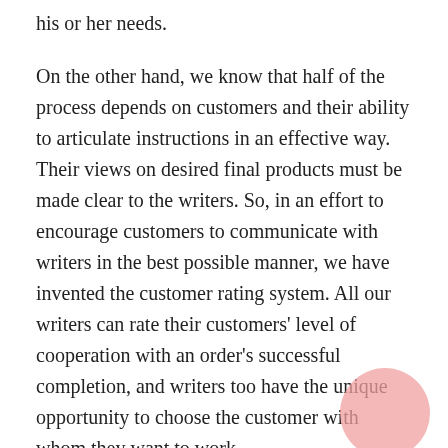his or her needs.
On the other hand, we know that half of the process depends on customers and their ability to articulate instructions in an effective way. Their views on desired final products must be made clear to the writers. So, in an effort to encourage customers to communicate with writers in the best possible manner, we have invented the customer rating system. All our writers can rate their customers' level of cooperation with an order's successful completion, and writers too have the unique opportunity to choose the customer with whom they want to work.
All in all, EssayShark.com offers a convenient, simple, and unique platform for collaboration between customers who struggle with their studying and professional writers willing and able to dedicate their skills towards customers'